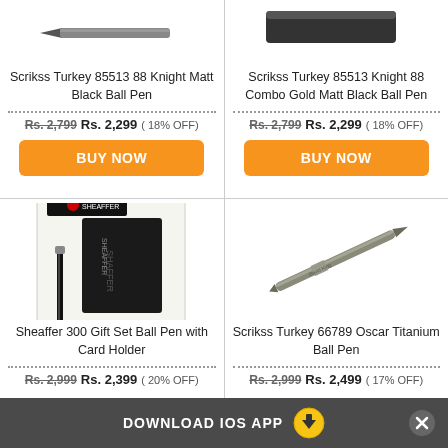[Figure (photo): Scrikss Turkey 85513 88 Knight Matt Black Ball Pen - top portion of pen visible]
Scrikss Turkey 85513 88 Knight Matt Black Ball Pen
Rs. 2,799 Rs. 2,299 ( 18% OFF)
BUY NOW
[Figure (photo): Scrikss Turkey 85513 Knight 88 Combo Gold Matt Black Ball Pen - top portion of pen visible]
Scrikss Turkey 85513 Knight 88 Combo Gold Matt Black Ball Pen
Rs. 2,799 Rs. 2,299 ( 18% OFF)
BUY NOW
[Figure (photo): Sheaffer 300 Gift Set Ball Pen with Card Holder - black pen and card holder in white gift box]
Sheaffer 300 Gift Set Ball Pen with Card Holder
Rs. 2,999 Rs. 2,399 ( 20% OFF)
[Figure (photo): Scrikss Turkey 66789 Oscar Titanium Ball Pen - slender metallic pen]
Scrikss Turkey 66789 Oscar Titanium Ball Pen
Rs. 2,999 Rs. 2,499 ( 17% OFF)
DOWNLOAD IOS APP